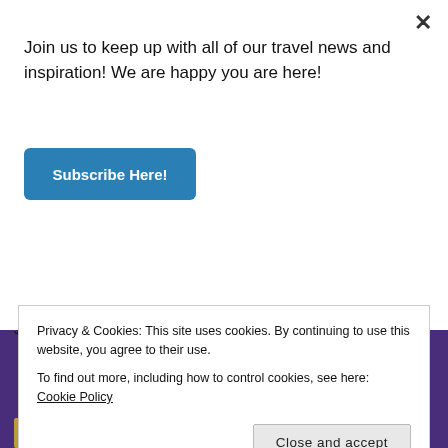Join us to keep up with all of our travel news and inspiration! We are happy you are here!
Subscribe Here!
[Figure (photo): Product photo showing two people in white long-sleeve thermal underwear.]
Fruit of the Loom Women's Micro...
$14.99 Prime
Privacy & Cookies: This site uses cookies. By continuing to use this website, you agree to their use.
To find out more, including how to control cookies, see here: Cookie Policy
Close and accept